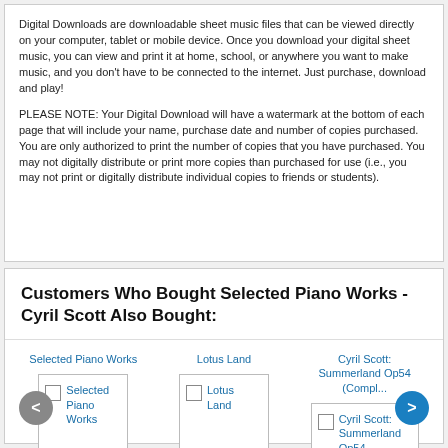Digital Downloads are downloadable sheet music files that can be viewed directly on your computer, tablet or mobile device. Once you download your digital sheet music, you can view and print it at home, school, or anywhere you want to make music, and you don't have to be connected to the internet. Just purchase, download and play!

PLEASE NOTE: Your Digital Download will have a watermark at the bottom of each page that will include your name, purchase date and number of copies purchased. You are only authorized to print the number of copies that you have purchased. You may not digitally distribute or print more copies than purchased for use (i.e., you may not print or digitally distribute individual copies to friends or students).
Customers Who Bought Selected Piano Works - Cyril Scott Also Bought:
Selected Piano Works
Lotus Land
Cyril Scott: Summerland Op54 (Compl...
[Figure (other): Product card with checkbox for Selected Piano Works]
[Figure (other): Product card with checkbox for Lotus Land]
[Figure (other): Product card with checkbox for Cyril Scott: Summerland Op54 (Complete)]